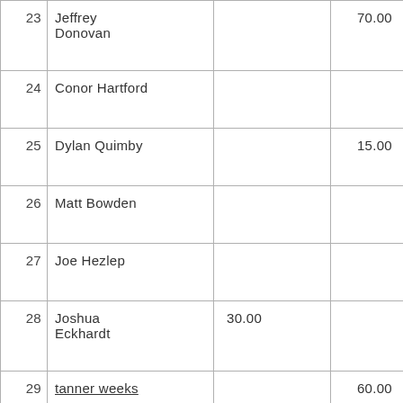| 23 | Jeffrey
Donovan |  | 70.00 |
| 24 | Conor Hartford |  |  |
| 25 | Dylan Quimby |  | 15.00 |
| 26 | Matt Bowden |  |  |
| 27 | Joe Hezlep |  |  |
| 28 | Joshua
Eckhardt | 30.00 |  |
| 29 | tanner weeks |  | 60.00 |